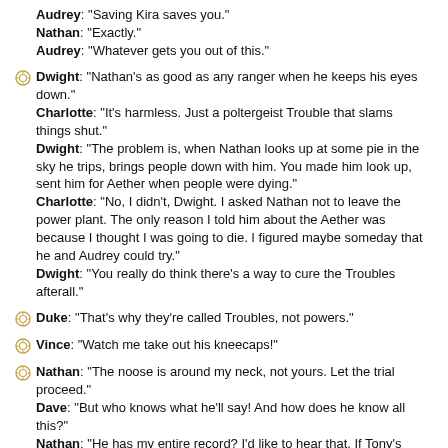Audrey: "Saving Kira saves you."
Nathan: "Exactly."
Audrey: "Whatever gets you out of this."
Dwight: "Nathan's as good as any ranger when he keeps his eyes down."
Charlotte: "It's harmless. Just a poltergeist Trouble that slams things shut."
Dwight: "The problem is, when Nathan looks up at some pie in the sky he trips, brings people down with him. You made him look up, sent him for Aether when people were dying."
Charlotte: "No, I didn't, Dwight. I asked Nathan not to leave the power plant. The only reason I told him about the Aether was because I thought I was going to die. I figured maybe someday that he and Audrey could try."
Dwight: "You really do think there's a way to cure the Troubles afterall."
Duke: "That's why they're called Troubles, not powers."
Vince: "Watch me take out his kneecaps!"
Nathan: "The noose is around my neck, not yours. Let the trial proceed."
Dave: "But who knows what he'll say! And how does he know all this?"
Nathan: "He has my entire record? I'd like to hear that. If Tony's going to make this personal–"
Tony: "What? If I'm going to make this personal, what?"
Nathan: "I stand behind what I've done."